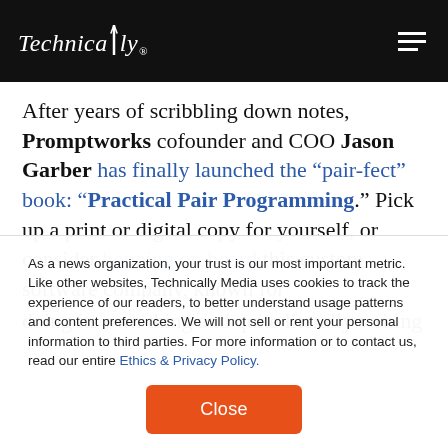Technically
After years of scribbling down notes, Promptworks cofounder and COO Jason Garber has finally launched the “pair-fect” book: “Practical Pair Programming.” Pick up a print or digital copy for yourself, or consider hopping on board this custom software company, known for doing its own thing and quite literally writing the
As a news organization, your trust is our most important metric. Like other websites, Technically Media uses cookies to track the experience of our readers, to better understand usage patterns and content preferences. We will not sell or rent your personal information to third parties. For more information or to contact us, read our entire Ethics & Privacy Policy.